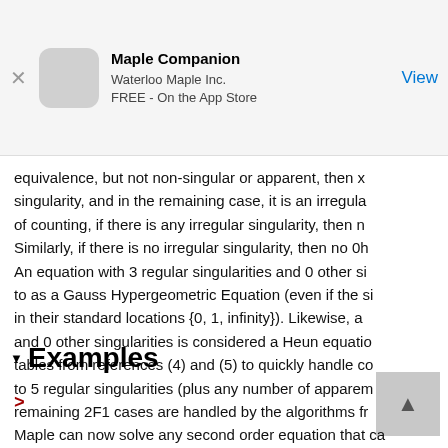Maple Companion
Waterloo Maple Inc.
FREE - On the App Store
equivalence, but not non-singular or apparent, then x singularity, and in the remaining case, it is an irregular of counting, if there is any irregular singularity, then n Similarly, if there is no irregular singularity, then no 0h An equation with 3 regular singularities and 0 other si to as a Gauss Hypergeometric Equation (even if the si in their standard locations {0, 1, infinity}). Likewise, a and 0 other singularities is considered a Heun equatio tables from references (4) and (5) to quickly handle co to 5 regular singularities (plus any number of apparem remaining 2F1 cases are handled by the algorithms fr
Examples
>
Maple can now solve any second order equation that ca